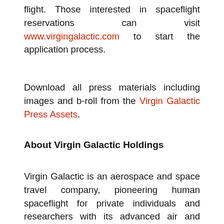flight. Those interested in spaceflight reservations can visit www.virgingalactic.com to start the application process.
Download all press materials including images and b-roll from the Virgin Galactic Press Assets.
About Virgin Galactic Holdings
Virgin Galactic is an aerospace and space travel company, pioneering human spaceflight for private individuals and researchers with its advanced air and space vehicles. It is developing a spaceflight system designed to connect the world to the love, wonder and